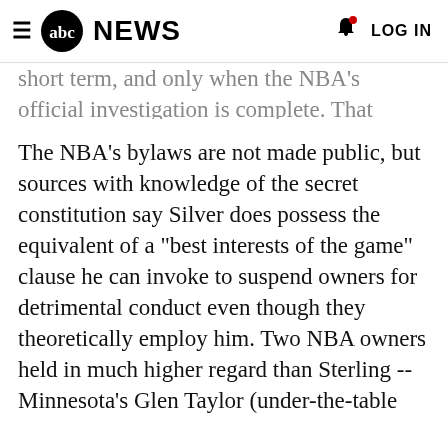abc NEWS  LOG IN
short term, and only when the NBA's official investigation is complete. That includes the complicated process of confirming that the male voice on the recordings obtained and distributed by TMZ is indeed Sterling's.
The NBA's bylaws are not made public, but sources with knowledge of the secret constitution say Silver does possess the equivalent of a "best interests of the game" clause he can invoke to suspend owners for detrimental conduct even though they theoretically employ him. Two NBA owners held in much higher regard than Sterling -- Minnesota's Glen Taylor (under-the-table